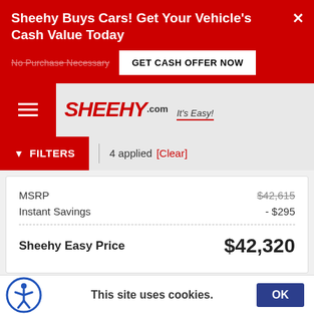Sheehy Buys Cars! Get Your Vehicle's Cash Value Today
No Purchase Necessary
GET CASH OFFER NOW
[Figure (logo): Sheehy.com It's Easy! logo]
FILTERS  4 applied  [Clear]
|  |  |
| --- | --- |
| MSRP | $42,615 |
| Instant Savings | - $295 |
| Sheehy Easy Price | $42,320 |
This site uses cookies.